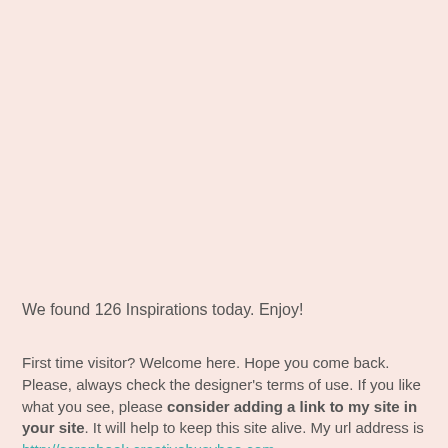We found 126 Inspirations today. Enjoy!
First time visitor? Welcome here. Hope you come back. Please, always check the designer's terms of use. If you like what you see, please consider adding a link to my site in your site. It will help to keep this site alive. My url address is http://scrapbook.creativebusybee.com If you are a designer and want to have your site published here, either fill the form or send me a comment. Please